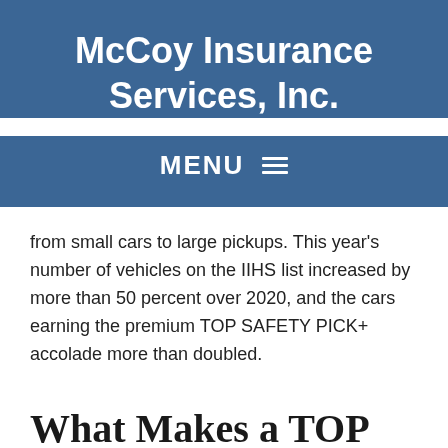McCoy Insurance Services, Inc.
MENU
from small cars to large pickups. This year's number of vehicles on the IIHS list increased by more than 50 percent over 2020, and the cars earning the premium TOP SAFETY PICK+ accolade more than doubled.
What Makes a TOP